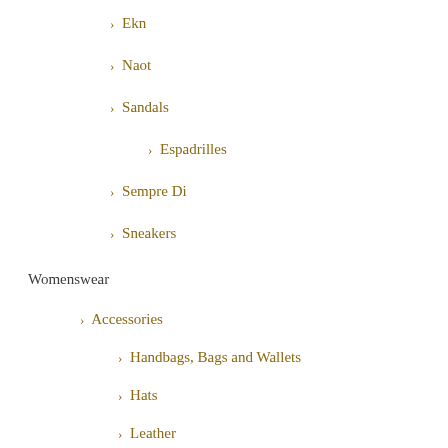Ekn
Naot
Sandals
Espadrilles
Sempre Di
Sneakers
Womenswear
Accessories
Handbags, Bags and Wallets
Hats
Leather
Scarves and Wraps
Coats and Jumpers
Desigual